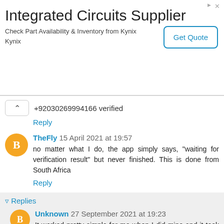[Figure (other): Advertisement banner for Integrated Circuits Supplier - Kynix, with Get Quote button]
+92030269994166 verified
Reply
TheFly 15 April 2021 at 19:57
no matter what I do, the app simply says, "waiting for verification result" but never finished. This is done from South Africa
Reply
▾ Replies
Unknown 27 September 2021 at 19:23
It worked pretty simple for me when I did mine and it took less than minute but for some reason I'm trying to register my taanie's number and it's